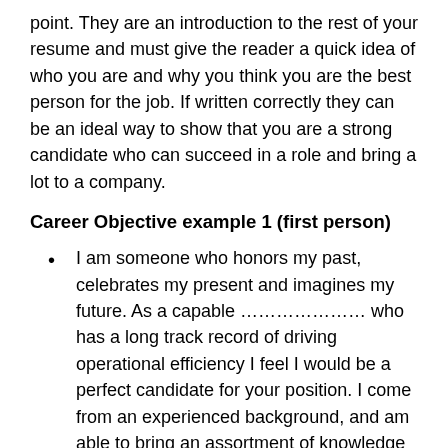point. They are an introduction to the rest of your resume and must give the reader a quick idea of who you are and why you think you are the best person for the job. If written correctly they can be an ideal way to show that you are a strong candidate who can succeed in a role and bring a lot to a company.
Career Objective example 1 (first person)
I am someone who honors my past, celebrates my present and imagines my future. As a capable ………………… who has a long track record of driving operational efficiency I feel I would be a perfect candidate for your position. I come from an experienced background, and am able to bring an assortment of knowledge and skills to every area of your business. Furthermore, as